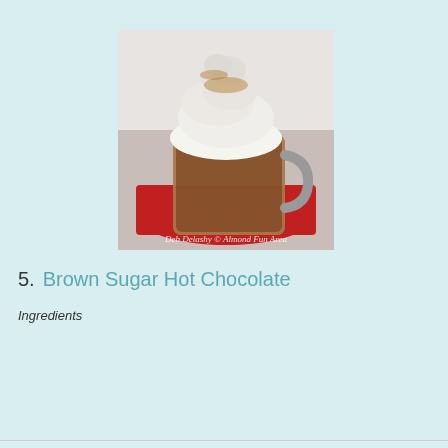[Figure (photo): A glass mug filled with brown hot chocolate topped with a large swirl of whipped cream dusted with cinnamon or cocoa powder, sitting on a red knit coaster. Watermark text at bottom reads: Deb Delashy © Almond Fun Area]
5.  Brown Sugar Hot Chocolate
Ingredients